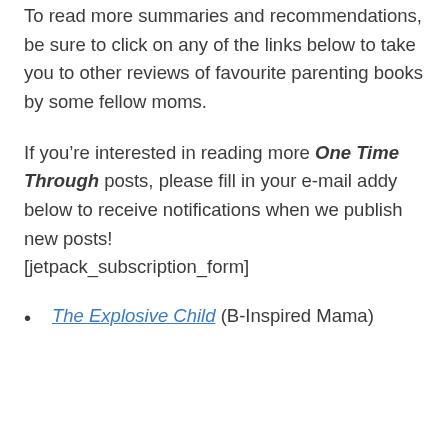To read more summaries and recommendations, be sure to click on any of the links below to take you to other reviews of favourite parenting books by some fellow moms.
If you’re interested in reading more One Time Through posts, please fill in your e-mail addy below to receive notifications when we publish new posts!
[jetpack_subscription_form]
The Explosive Child (B-Inspired Mama)